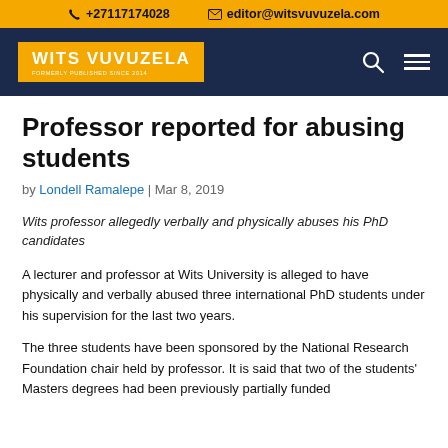+27117174028  editor@witsvuvuzela.com
[Figure (logo): Wits Vuvuzela newspaper logo in orange box with white text, on dark navy navigation bar]
Professor reported for abusing students
by Londell Ramalepe | Mar 8, 2019
Wits professor allegedly verbally and physically abuses his PhD candidates
A lecturer and professor at Wits University is alleged to have physically and verbally abused three international PhD students under his supervision for the last two years.
The three students have been sponsored by the National Research Foundation chair held by professor. It is said that two of the students' Masters degrees had been previously partially funded